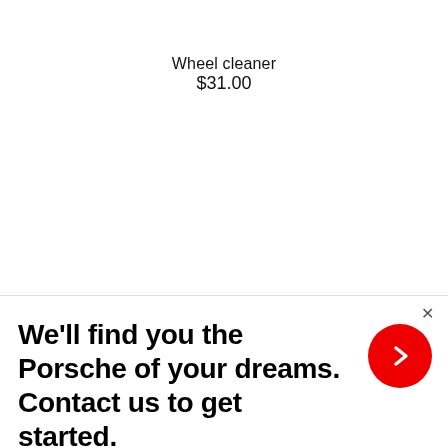Wheel cleaner
$31.00
We'll find you the Porsche of your dreams. Contact us to get started.